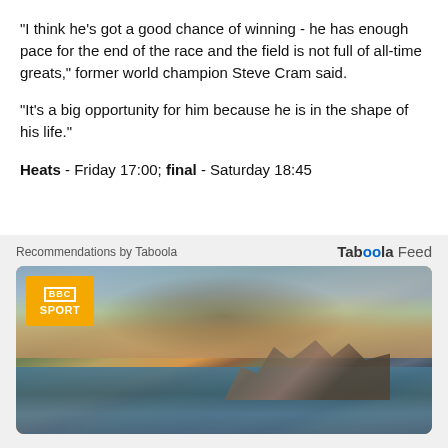"I think he's got a good chance of winning - he has enough pace for the end of the race and the field is not full of all-time greats," former world champion Steve Cram said.
"It's a big opportunity for him because he is in the shape of his life."
Heats - Friday 17:00; final - Saturday 18:45
[Figure (screenshot): Taboola Feed recommendations section with BBC Sport branded image showing a dramatic war/disaster painting with ships, burning city, smoke and ruins.]